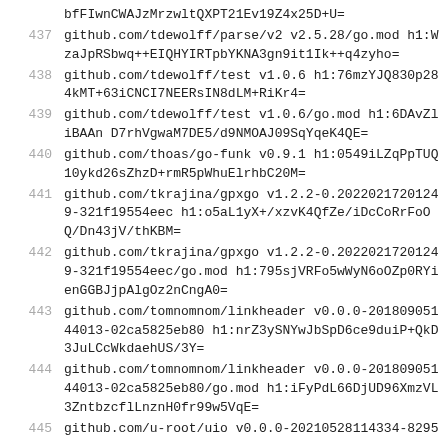bfFIwnCWAJzMrzwltQXPT21Ev19Z4x25D+U=
437 github.com/tdewolff/parse/v2 v2.5.28/go.mod h1:WzaJpRSbwq++EIQHYIRTpbYKNA3gn9it1Ik++q4zyho=
438 github.com/tdewolff/test v1.0.6 h1:76mzYJQ830p284kMT+63iCNCI7NEERsIN8dLM+RiKr4=
439 github.com/tdewolff/test v1.0.6/go.mod h1:6DAvZliBAAn D7rhVgwaM7DE5/d9NMOAJ09SqYqeK4QE=
440 github.com/thoas/go-funk v0.9.1 h1:0549iLZqPpTUQ10ykd26sZhzD+rmR5pWhuElrhbC20M=
441 github.com/tkrajina/gpxgo v1.2.2-0.20220217201249-321f19554eec h1:o5aL1yX+/xzvK4QfZe/iDcCoRrFoOQ/Dn43jV/thKBM=
442 github.com/tkrajina/gpxgo v1.2.2-0.20220217201249-321f19554eec/go.mod h1:795sjVRFo5wWyN6oOZp0RYienGGBJjpAlgOz2nCngA0=
443 github.com/tomnomnom/linkheader v0.0.0-20180905144013-02ca5825eb80 h1:nrZ3ySNYwJbSpD6ce9duiP+QkD3JuLCcWkdaehUS/3Y=
444 github.com/tomnomnom/linkheader v0.0.0-20180905144013-02ca5825eb80/go.mod h1:iFyPdL66DjUD96XmzVL3ZntbzcflLnznH0fr99w5VqE=
445 github.com/u-root/uio v0.0.0-20210528114334-8295...